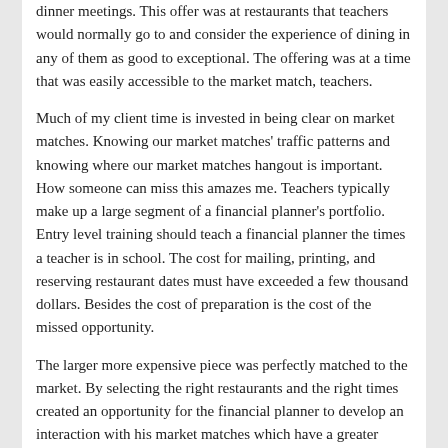dinner meetings. This offer was at restaurants that teachers would normally go to and consider the experience of dining in any of them as good to exceptional. The offering was at a time that was easily accessible to the market match, teachers.
Much of my client time is invested in being clear on market matches. Knowing our market matches' traffic patterns and knowing where our market matches hangout is important. How someone can miss this amazes me. Teachers typically make up a large segment of a financial planner's portfolio. Entry level training should teach a financial planner the times a teacher is in school. The cost for mailing, printing, and reserving restaurant dates must have exceeded a few thousand dollars. Besides the cost of preparation is the cost of the missed opportunity.
The larger more expensive piece was perfectly matched to the market. By selecting the right restaurants and the right times created an opportunity for the financial planner to develop an interaction with his market matches which have a greater potential for making a sale.
Having these two marketing pieces arrive on the same day was odd enough. Having them be so opposite in terms of effective marketing makes this unbelievable. Having Lynne bring this to